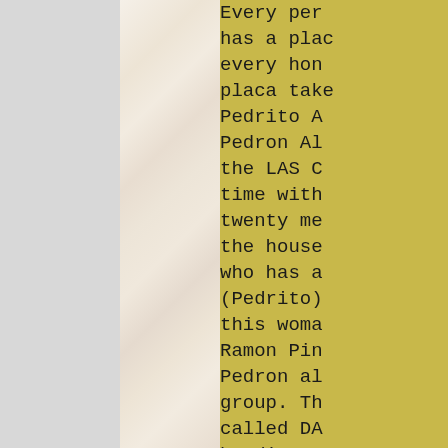Every per... has a plac... every hon... placa take... Pedrito A... Pedron Al... the LAS C... time with... twenty me... the house... who has a... (Pedrito)... this woma... Ramon Pin... Pedron al... group. Th... called DA... bandits c... in the LA... Rivera es... on 11 Jun...